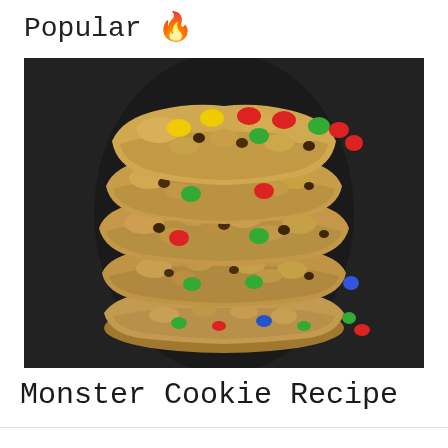Popular 🔥
[Figure (photo): Stack of monster cookies with M&Ms and chocolate chips on a dark background]
Monster Cookie Recipe